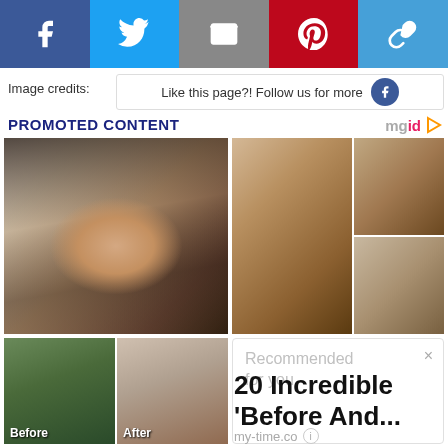[Figure (screenshot): Social media share bar with Facebook (blue), Twitter (blue), Email (gray), Pinterest (red), and link (light blue) buttons with white icons]
Image credits:
Like this page?! Follow us for more
PROMOTED CONTENT
mgid
[Figure (photo): Asian female model with dark flowing hair and red lips on white background]
[Figure (photo): Tom Cruise smiling close-up headshot, and Katie Holmes with a young girl wearing a hat]
[Figure (photo): Before and after comparison photos - before shows person outdoors, after shows Asian woman with makeup]
Before
After
Recommended for you
20 Incredible 'Before And...
my-time.co